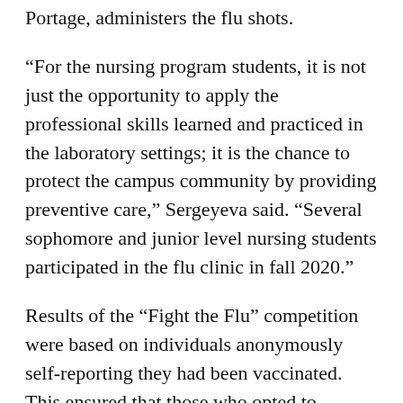Portage, administers the flu shots.
“For the nursing program students, it is not just the opportunity to apply the professional skills learned and practiced in the laboratory settings; it is the chance to protect the campus community by providing preventive care,” Sergeyeva said. “Several sophomore and junior level nursing students participated in the flu clinic in fall 2020.”
Results of the “Fight the Flu” competition were based on individuals anonymously self-reporting they had been vaccinated. This ensured that those who opted to receive their vaccination from a health department, at a community event or local pharmacy could participate, in addition to those who were vaccinated during campus-wide flu shot clinics.
Elise Bur, director of the NMU Center for Rural Health, said it was a record year for all U.P. universities, as they